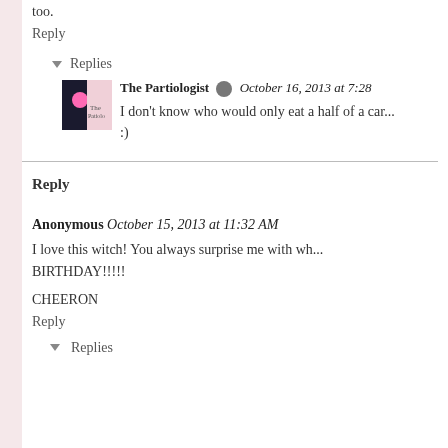too.
Reply
▾ Replies
[Figure (photo): Avatar thumbnail of The Partiologist blog]
The Partiologist  October 16, 2013 at 7:28
I don't know who would only eat a half of a car... :)
Reply
Anonymous  October 15, 2013 at 11:32 AM
I love this witch! You always surprise me with wh... BIRTHDAY!!!!!
CHEERON
Reply
▾ Replies